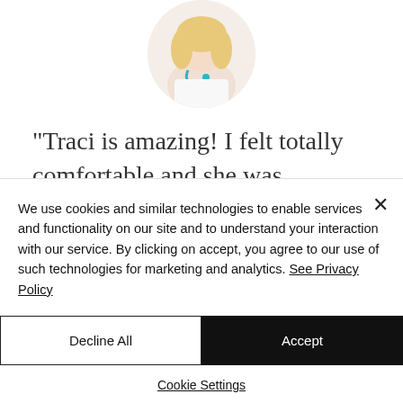[Figure (photo): Circular cropped profile photo of a woman (likely a healthcare professional) with blonde hair and a teal/blue stethoscope, wearing white.]
"Traci is amazing! I felt totally comfortable and she was completely professional. She had amazing ideas and I was able to give her my ideas. She totally ran with all of them and made me feel
We use cookies and similar technologies to enable services and functionality on our site and to understand your interaction with our service. By clicking on accept, you agree to our use of such technologies for marketing and analytics. See Privacy Policy
Decline All
Accept
Cookie Settings